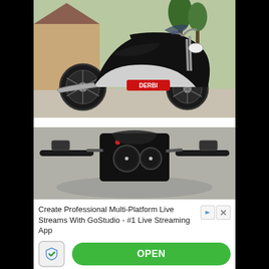[Figure (photo): Black Derbi GPR 50R sport motorcycle parked in a driveway, side profile view, with trees and a building in the background.]
[Figure (photo): Close-up overhead view of the handlebars and dashboard of a black Derbi motorcycle, showing speedometer gauges and controls.]
Create Professional Multi-Platform Live Streams With GoStudio - #1 Live Streaming App
Ad